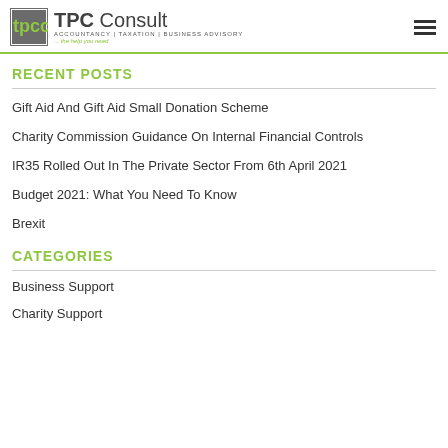TPC Consult — ACCOUNTANCY | TAXATION | BUSINESS ADVISORY ... the help you need
RECENT POSTS
Gift Aid And Gift Aid Small Donation Scheme
Charity Commission Guidance On Internal Financial Controls
IR35 Rolled Out In The Private Sector From 6th April 2021
Budget 2021: What You Need To Know
Brexit
CATEGORIES
Business Support
Charity Support